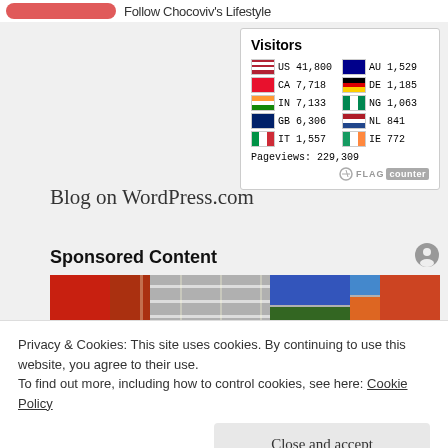Follow Chocoviv's Lifestyle
[Figure (infographic): Visitors widget showing flag counter with visitor counts by country: US 41,800 | AU 1,529 | CA 7,718 | DE 1,185 | IN 7,133 | NG 1,063 | GB 6,306 | NL 841 | IT 1,557 | IE 772 | Pageviews: 229,309 | FLAG counter]
Blog on WordPress.com
Sponsored Content
[Figure (photo): Interior of a large retail store with shelving and signage]
Privacy & Cookies: This site uses cookies. By continuing to use this website, you agree to their use.
To find out more, including how to control cookies, see here: Cookie Policy
Close and accept